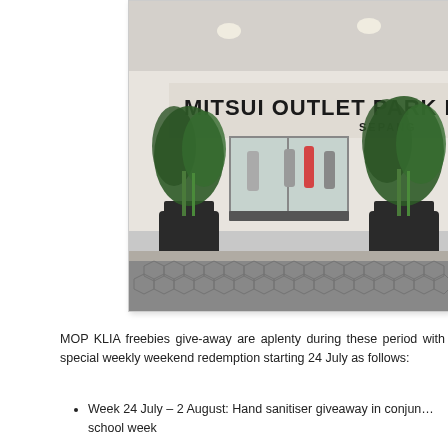[Figure (photo): Exterior entrance of Mitsui Outlet Park KLIA Sepang, showing the large building signage reading 'MITSUI OUTLET PARK KLIA SEPANG', glass entrance doors, large potted tropical plants, and a hexagonal patterned ground in the foreground.]
MOP KLIA freebies give-away are aplenty during these period with special weekly weekend redemption starting 24 July as follows:
Week 24 July – 2 August: Hand sanitiser giveaway in conjunction with school week